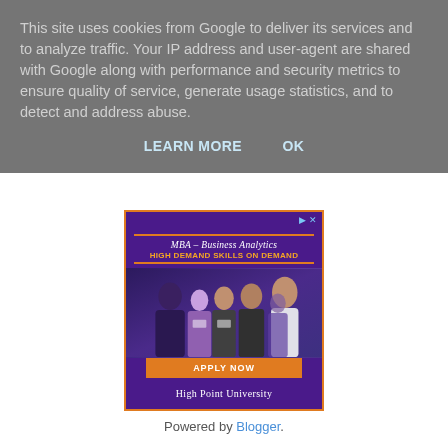This site uses cookies from Google to deliver its services and to analyze traffic. Your IP address and user-agent are shared with Google along with performance and security metrics to ensure quality of service, generate usage statistics, and to detect and address abuse.
LEARN MORE    OK
[Figure (illustration): Advertisement for High Point University MBA – Business Analytics program. Shows 'HIGH DEMAND SKILLS ON DEMAND' tagline, a photo of business professionals networking, an 'APPLY NOW' button, and 'HIGH POINT UNIVERSITY' text on a purple background with orange accents.]
Powered by Blogger.